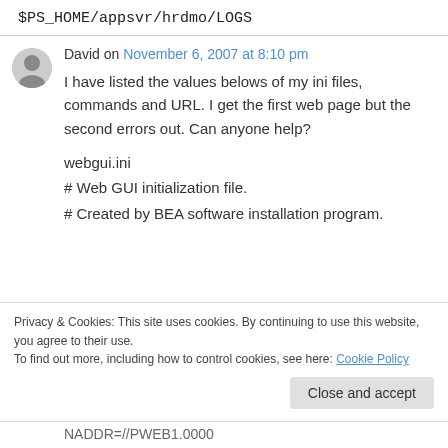$PS_HOME/appsvr/hrdmo/LOGS
David on November 6, 2007 at 8:10 pm
I have listed the values belows of my ini files, commands and URL. I get the first web page but the second errors out. Can anyone help?
webgui.ini
# Web GUI initialization file.
# Created by BEA software installation program.
Privacy & Cookies: This site uses cookies. By continuing to use this website, you agree to their use.
To find out more, including how to control cookies, see here: Cookie Policy
Close and accept
NADDR=//PWEB1.0000